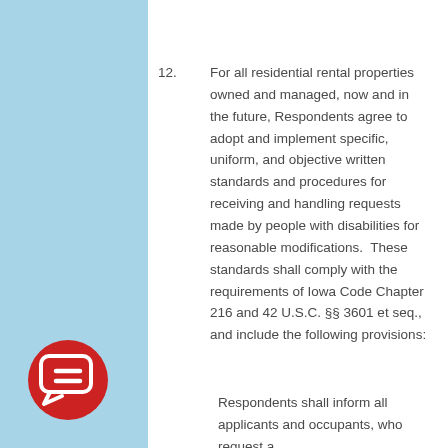12.   For all residential rental properties owned and managed, now and in the future, Respondents agree to adopt and implement specific, uniform, and objective written standards and procedures for receiving and handling requests made by people with disabilities for reasonable modifications.  These standards shall comply with the requirements of Iowa Code Chapter 216 and 42 U.S.C. §§ 3601 et seq., and include the following provisions:
Respondents shall inform all applicants and occupants, who request a
[Figure (logo): Red circle icon with a chat/message bubble containing an equals sign inside]